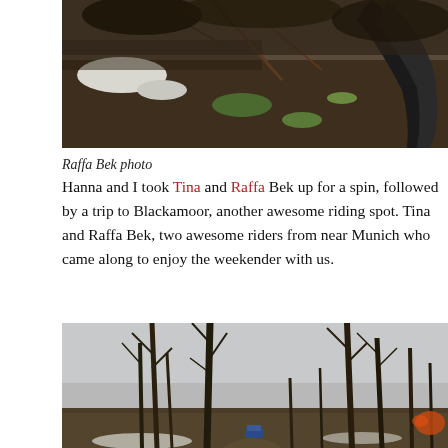[Figure (photo): Close-up photo of a bicycle tire on muddy ground with leaves, snow patches, and vegetation visible]
Raffa Bek photo
Hanna and I took Tina and Raffa Bek up for a spin, followed by a trip to Blackamoor, another awesome riding spot. Tina and Raffa Bek, two awesome riders from near Munich who came along to enjoy the weekender with us.
[Figure (photo): Outdoor winter photo of bare trees along a forest path with overcast sky, a person visible in the distance on a trail]